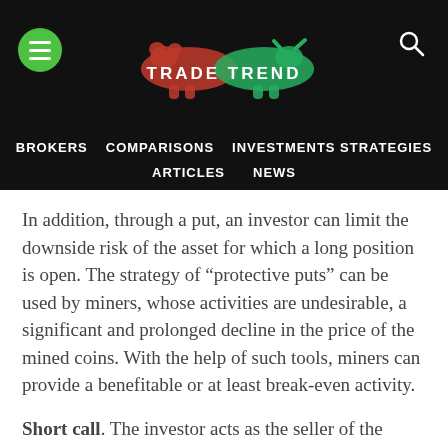[Figure (logo): Trade Trend website header with green hamburger menu button on left, red and green bull/bear logo with 'TRADE TREND' text in center, and search icon on right, all on black background]
BROKERS   COMPARISONS   INVESTMENTS STRATEGIES   ARTICLES   NEWS
In addition, through a put, an investor can limit the downside risk of the asset for which a long position is open. The strategy of “protective puts” can be used by miners, whose activities are undesirable, a significant and prolonged decline in the price of the mined coins. With the help of such tools, miners can provide a benefitable or at least break-even activity.
Short call. The investor acts as the seller of the contract, expecting the price of the bitcoin to fall below the strike on the e[xpiration dat]e. However, the higher the price of the